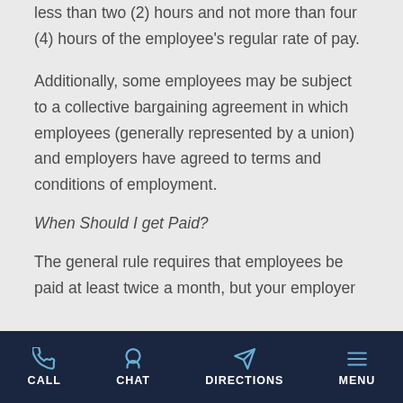less than two (2) hours and not more than four (4) hours of the employee's regular rate of pay.
Additionally, some employees may be subject to a collective bargaining agreement in which employees (generally represented by a union) and employers have agreed to terms and conditions of employment.
When Should I get Paid?
The general rule requires that employees be paid at least twice a month, but your employer
CALL  CHAT  DIRECTIONS  MENU